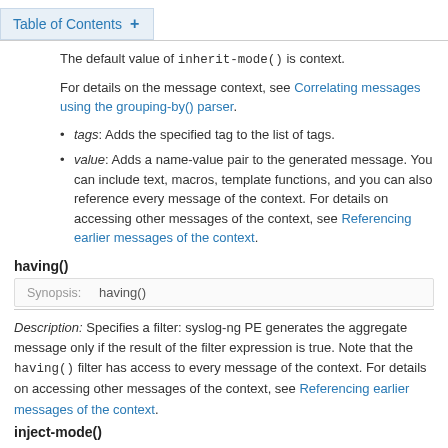Table of Contents +
The default value of inherit-mode() is context.
For details on the message context, see Correlating messages using the grouping-by() parser.
tags: Adds the specified tag to the list of tags.
value: Adds a name-value pair to the generated message. You can include text, macros, template functions, and you can also reference every message of the context. For details on accessing other messages of the context, see Referencing earlier messages of the context.
having()
Synopsis:  having()
Description: Specifies a filter: syslog-ng PE generates the aggregate message only if the result of the filter expression is true. Note that the having() filter has access to every message of the context. For details on accessing other messages of the context, see Referencing earlier messages of the context.
inject-mode()